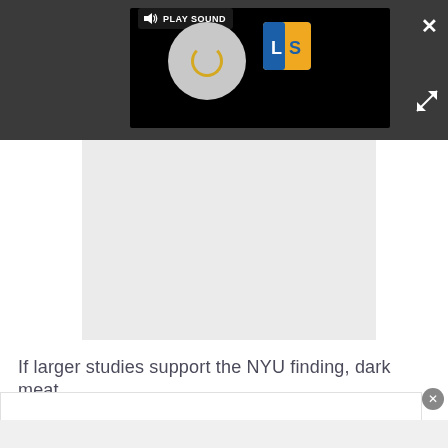[Figure (screenshot): Video player UI on dark grey background with PLAY SOUND button, spinning disc animation, LS logo, close X button, and expand arrows button]
[Figure (screenshot): Advertisement area - light grey rectangle]
If larger studies support the NYU finding, dark meat
[Figure (screenshot): White overlay panel with close circle button]
[Figure (screenshot): Light grey bottom strip]